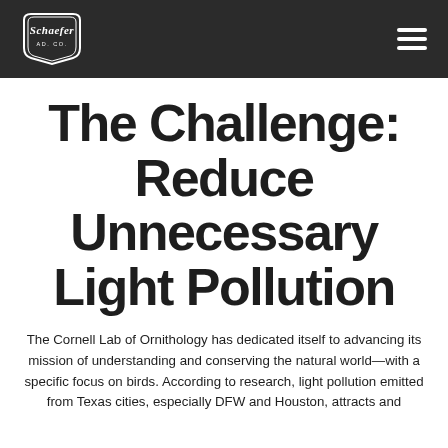[Figure (logo): Schaefer Ad Co. logo in white on dark background, with a stylized badge/pennant shape]
The Challenge: Reduce Unnecessary Light Pollution
The Cornell Lab of Ornithology has dedicated itself to advancing its mission of understanding and conserving the natural world—with a specific focus on birds. According to research, light pollution emitted from Texas cities, especially DFW and Houston, attracts and